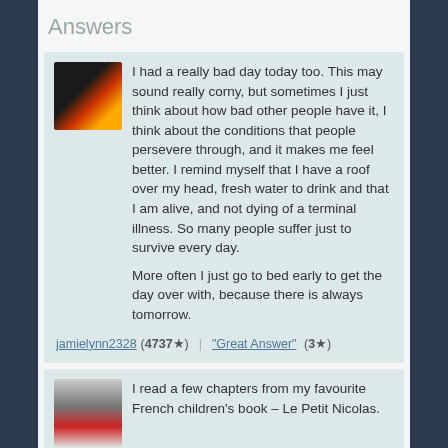Answers
I had a really bad day today too. This may sound really corny, but sometimes I just think about how bad other people have it, I think about the conditions that people persevere through, and it makes me feel better. I remind myself that I have a roof over my head, fresh water to drink and that I am alive, and not dying of a terminal illness. So many people suffer just to survive every day.

More often I just go to bed early to get the day over with, because there is always tomorrow.
jamielynn2328 (4737★) "Great Answer" (3★)
I read a few chapters from my favourite French children's book – Le Petit Nicolas.
lilgiraffe (283★) "Great Answer" (2★)
I can't really sleep when I'm sad